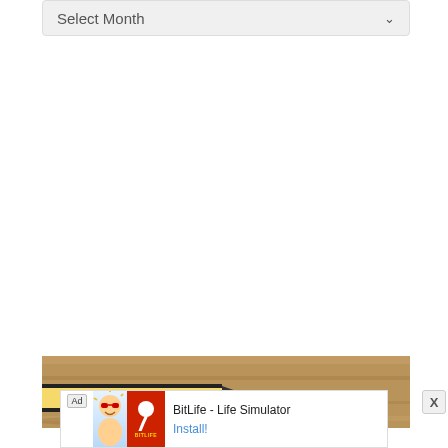Select Month
[Figure (screenshot): Screenshot of a webpage showing a 'Select Month' dropdown at the top, a large white empty space in the middle, a partial image of a pencil on a wooden surface at the bottom, an X close button, and a BitLife - Life Simulator ad banner at the very bottom with an Install button.]
BitLife - Life Simulator
Install!